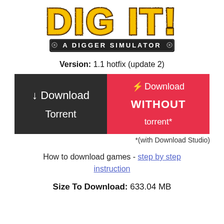[Figure (logo): DIG IT! A DIGGER SIMULATOR game logo with yellow grunge lettering and dark banner subtitle]
Version: 1.1 hotfix (update 2)
↓ Download Torrent
⚡ Download WITHOUT torrent*
*(with Download Studio)
How to download games - step by step instruction
Size To Download: 633.04 MB